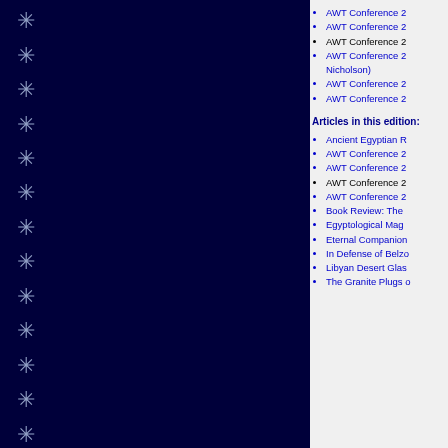[Figure (illustration): Left decorative panel with dark navy background and repeated hieroglyph/asterisk symbols in light blue-grey, with a grey-blue border strip on the right edge]
AWT Conference 2
AWT Conference 2
AWT Conference 2
AWT Conference 2 Nicholson)
AWT Conference 2
AWT Conference 2
Articles in this edition:
Ancient Egyptian R
AWT Conference 2
AWT Conference 2
AWT Conference 2
AWT Conference 2
Book Review: The
Egyptological Mag
Eternal Companion
In Defense of Belzo
Libyan Desert Glas
The Granite Plugs o